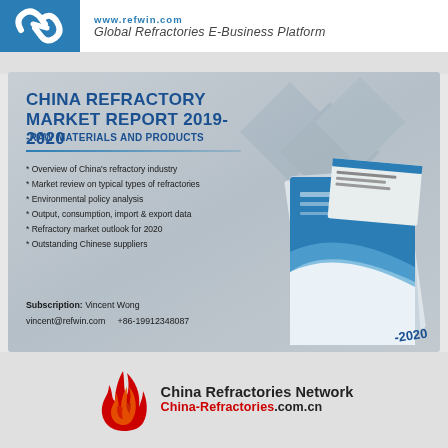www.refwin.com  Global Refractories E-Business Platform
CHINA REFRACTORY MARKET REPORT 2019-2020
-RAW MATERIALS AND PRODUCTS
* Overview of China's refractory industry
* Market review on typical types of refractories
* Environmental policy analysis
* Output, consumption, import & export data
* Refractory market outlook for 2020
* Outstanding Chinese suppliers
Subscription: Vincent Wong
vincent@refwin.com    +86-19912348087
[Figure (logo): China Refractories Network logo with flame icon and text China-Refractories.com.cn]